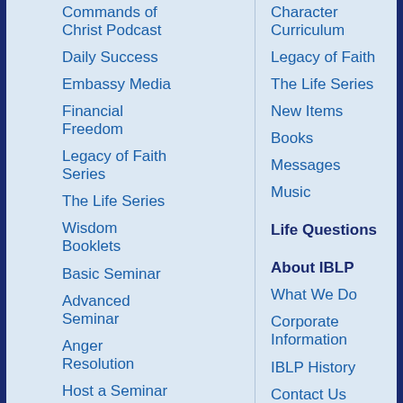Commands of Christ Podcast
Daily Success
Embassy Media
Financial Freedom
Legacy of Faith Series
The Life Series
Wisdom Booklets
Basic Seminar
Advanced Seminar
Anger Resolution
Host a Seminar
Character Curriculum
Legacy of Faith
The Life Series
New Items
Books
Messages
Music
Life Questions
About IBLP
What We Do
Corporate Information
IBLP History
Contact Us